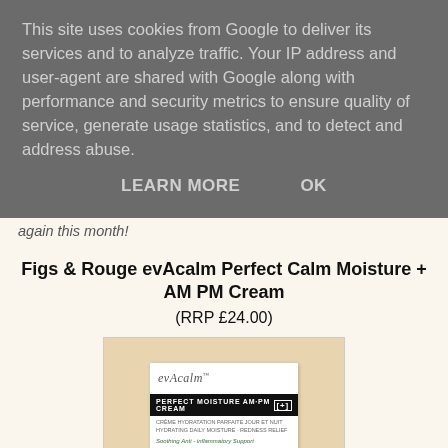This site uses cookies from Google to deliver its services and to analyze traffic. Your IP address and user-agent are shared with Google along with performance and security metrics to ensure quality of service, generate usage statistics, and to detect and address abuse.
LEARN MORE    OK
So let's crack on and I'll show you what's inside, it's a good one again this month!
Figs & Rouge evAcalm Perfect Calm Moisture + AM PM Cream
(RRP £24.00)
[Figure (photo): Product photo showing the evAcalm Perfect Moisture AM PM Cream box/carton with branding, placed against a wooden background. The packaging is white with black band reading 'PERFECT MOISTURE AM·PM CREAM [+]', with French and English text below.]